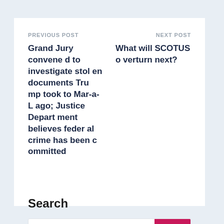PREVIOUS POST
Grand Jury convened to investigate stolen documents Trump took to Mar-a-Lago; Justice Department believes federal crime has been committed
NEXT POST
What will SCOTUS overturn next?
Search
Search Keyword